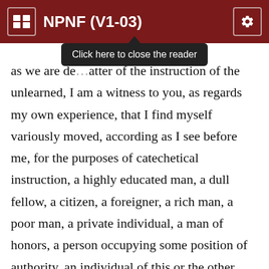NPNF (V1-03)
Click here to close the reader
as we are de[alt]…atter of the instruction of the unlearned, I am a witness to you, as regards my own experience, that I find myself variously moved, according as I see before me, for the purposes of catechetical instruction, a highly educated man, a dull fellow, a citizen, a foreigner, a rich man, a poor man, a private individual, a man of honors, a person occupying some position of authority, an individual of this or the other nation, of this or the other age or sex, one proceeding from this or the other sect, from this or the other common error,—and ever in accordance with the difference